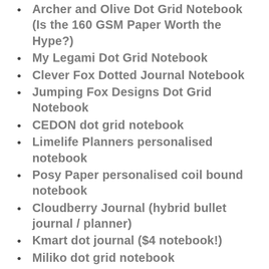Archer and Olive Dot Grid Notebook (Is the 160 GSM Paper Worth the Hype?)
My Legami Dot Grid Notebook
Clever Fox Dotted Journal Notebook
Jumping Fox Designs Dot Grid Notebook
CEDON dot grid notebook
Limelife Planners personalised notebook
Posy Paper personalised coil bound notebook
Cloudberry Journal (hybrid bullet journal / planner)
Kmart dot journal ($4 notebook!)
Miliko dot grid notebook
Bullet Keeper dot grid notebook
Nuuna dot grid notebook (3.5mm grid)
Lemome dot grid notebook